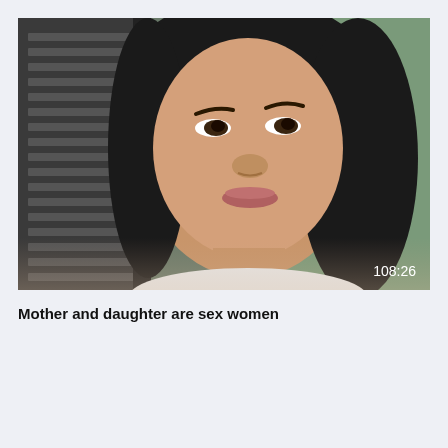[Figure (photo): Video thumbnail showing a close-up of an East Asian woman's face with dark hair, looking upward, with window blinds visible on the left side. A timestamp '108:26' is shown in the lower right corner.]
Mother and daughter are sex women